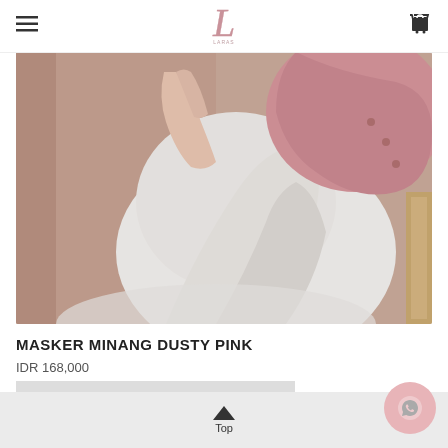L (logo) — menu icon and cart icon
[Figure (photo): Close-up photo of a woman wearing a white dress and dusty pink hijab/headscarf, reclining on a pink cushion or sofa with wooden elements visible in the background.]
MASKER MINANG DUSTY PINK
IDR 168,000
PRODUCT AVAILABLE WITH DIFFERENT OPTIONS
Top